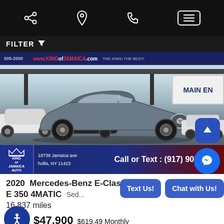Navigation bar with share, location, phone, and menu icons
FILTER
[Figure (photo): Gray 2020 Mercedes-Benz E-Class E 350 4MATIC sedan at King of Jamaica Auto dealership at 18739 Jamaica Ave, Hollis, NY 11423. Dealer banner shows www.KINGofJAMAICA.com. Bottom overlay shows Call or Text: (917) 905-2514]
2020 Mercedes-Benz E-Class E 350 4MATIC Sed...
16,837 miles
$47,900 $619.49 Monthly